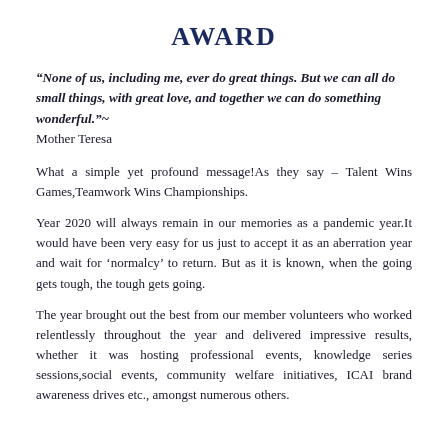AWARD
“None of us, including me, ever do great things. But we can all do small things, with great love, and together we can do something wonderful.”~ Mother Teresa
What a simple yet profound message!As they say – Talent Wins Games,Teamwork Wins Championships.
Year 2020 will always remain in our memories as a pandemic year.It would have been very easy for us just to accept it as an aberration year and wait for ‘normalcy’ to return. But as it is known, when the going gets tough, the tough gets going.
The year brought out the best from our member volunteers who worked relentlessly throughout the year and delivered impressive results, whether it was hosting professional events, knowledge series sessions,social events, community welfare initiatives, ICAI brand awareness drives etc., amongst numerous others.